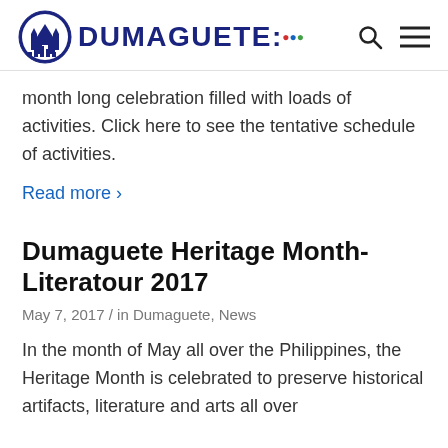DUMAGUETE
month long celebration filled with loads of activities. Click here to see the tentative schedule of activities.
Read more >
Dumaguete Heritage Month-Literatour 2017
May 7, 2017 / in Dumaguete, News
In the month of May all over the Philippines, the Heritage Month is celebrated to preserve historical artifacts, literature and arts all over